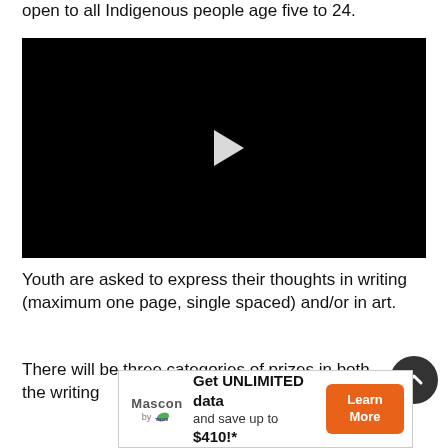open to all Indigenous people age five to 24.
[Figure (screenshot): Black video player with white play button triangle in the center]
Youth are asked to express their thoughts in writing (maximum one page, single spaced) and/or in art.
There will be three categories of prizes in both the writing
[Figure (infographic): Mascon by TELUS advertisement banner: Get UNLIMITED data and save up to $410!* with Learn More button]